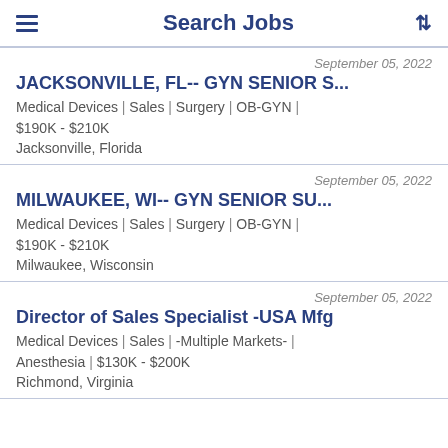Search Jobs
JACKSONVILLE, FL-- GYN SENIOR S...
Medical Devices | Sales | Surgery | OB-GYN | $190K - $210K
Jacksonville, Florida
September 05, 2022
MILWAUKEE, WI-- GYN SENIOR SU...
Medical Devices | Sales | Surgery | OB-GYN | $190K - $210K
Milwaukee, Wisconsin
September 05, 2022
Director of Sales Specialist -USA Mfg
Medical Devices | Sales | -Multiple Markets- | Anesthesia | $130K - $200K
Richmond, Virginia
September 05, 2022